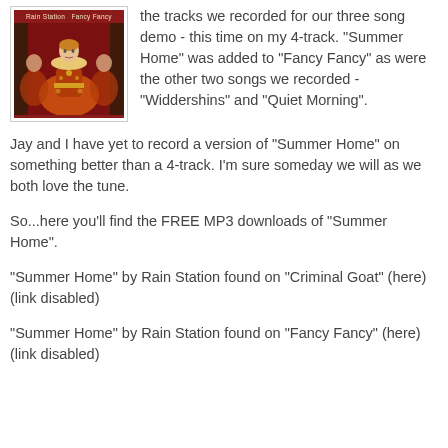[Figure (photo): Album cover art for 'Fancy Fancy' by Rain Station, showing a figure in ornate red and gold period costume against a red background, with text 'Rain Station Fancy Fancy' at the top.]
the tracks we recorded for our three song demo - this time on my 4-track. "Summer Home" was added to "Fancy Fancy" as were the other two songs we recorded - "Widdershins" and "Quiet Morning".
Jay and I have yet to record a version of "Summer Home" on something better than a 4-track. I'm sure someday we will as we both love the tune.
So...here you'll find the FREE MP3 downloads of "Summer Home".
"Summer Home" by Rain Station found on "Criminal Goat" (here) (link disabled)
"Summer Home" by Rain Station found on "Fancy Fancy" (here) (link disabled)